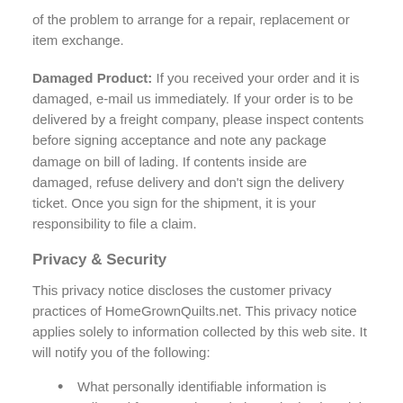of the problem to arrange for a repair, replacement or item exchange.
Damaged Product: If you received your order and it is damaged, e-mail us immediately. If your order is to be delivered by a freight company, please inspect contents before signing acceptance and note any package damage on bill of lading. If contents inside are damaged, refuse delivery and don't sign the delivery ticket. Once you sign for the shipment, it is your responsibility to file a claim.
Privacy & Security
This privacy notice discloses the customer privacy practices of HomeGrownQuilts.net. This privacy notice applies solely to information collected by this web site. It will notify you of the following:
What personally identifiable information is collected from you through the web site, how it is used and with whom it may be shared.
What choices are available to you regarding the use of your data.
The security procedures in place to protect the use of your information.